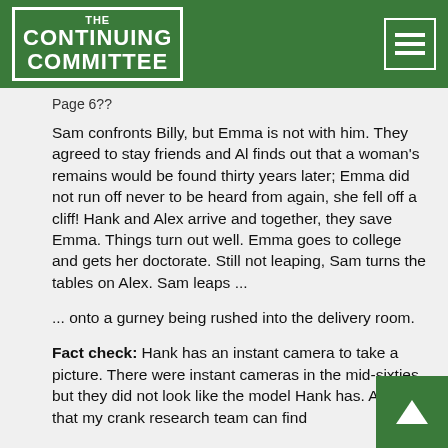THE CONTINUING COMMITTEE
Page 6??
Sam confronts Billy, but Emma is not with him. They agreed to stay friends and Al finds out that a woman's remains would be found thirty years later; Emma did not run off never to be heard from again, she fell off a cliff! Hank and Alex arrive and together, they save Emma. Things turn out well. Emma goes to college and gets her doctorate. Still not leaping, Sam turns the tables on Alex. Sam leaps ...
... onto a gurney being rushed into the delivery room.
Fact check: Hank has an instant camera to take a picture. There were instant cameras in the mid-sixties, but they did not look like the model Hank has. At least that my crank research team can find